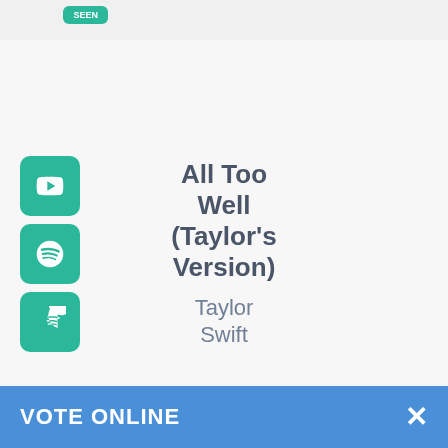[Figure (photo): Partial album art visible at top of page from previous list entry]
[Figure (photo): Album art for All Too Well (Taylor's Version) by Taylor Swift - photo of Taylor Swift in brown coat and beret]
6
All Too Well (Taylor's Version)
Taylor Swift
[Figure (logo): YouTube Music button (green)]
[Figure (logo): Spotify button (green)]
[Figure (logo): Amazon Music button (green)]
[Figure (photo): Album art for Permission To Dance by BTS - colorful graphics on orange background]
7
Permission To Dance
[Figure (logo): YouTube Music button (green)]
[Figure (logo): Spotify button (green)]
VOTE ONLINE